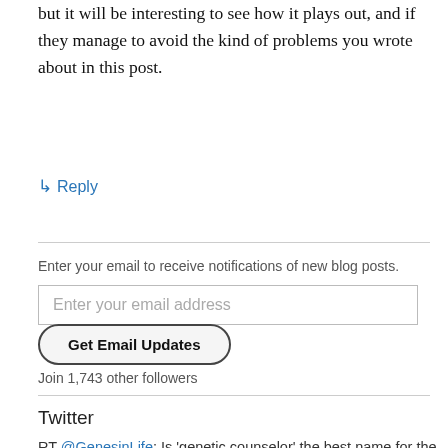but it will be interesting to see how it plays out, and if they manage to avoid the kind of problems you wrote about in this post.
↳ Reply
Enter your email to receive notifications of new blog posts.
Enter your email address
Get Email Updates
Join 1,743 other followers
Twitter
RT @GenesinLife: Is 'genetic counselor' the best name for the